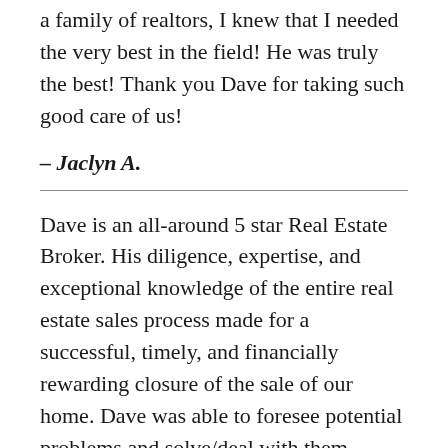a family of realtors, I knew that I needed the very best in the field! He was truly the best! Thank you Dave for taking such good care of us!
– Jaclyn A.
Dave is an all-around 5 star Real Estate Broker. His diligence, expertise, and exceptional knowledge of the entire real estate sales process made for a successful, timely, and financially rewarding closure of the sale of our home. Dave was able to foresee potential problems and solve/deal with them before they became an issue. The response time to every correspondence whether telephone